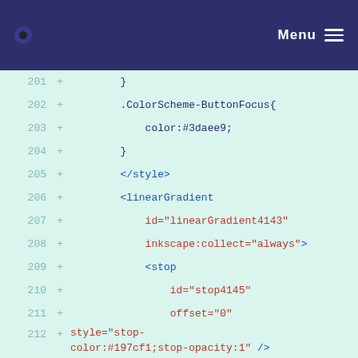Menu
201 + }
202 + .ColorScheme-ButtonFocus{
203 + color:#3daee9;
204 + }
205 + </style>
206 + <linearGradient
207 + id="linearGradient4143"
208 + inkscape:collect="always">
209 + <stop
210 + id="stop4145"
211 + offset="0"
212 + style="stop-color:#197cf1;stop-opacity:1" />
213 + <stop
214 + id="stop4147"
215 + offset="1"
216 + style="stop-color:#20bcfa;stop-opacity:1" />
217 + </linearGradient>
218 + <linearGradient